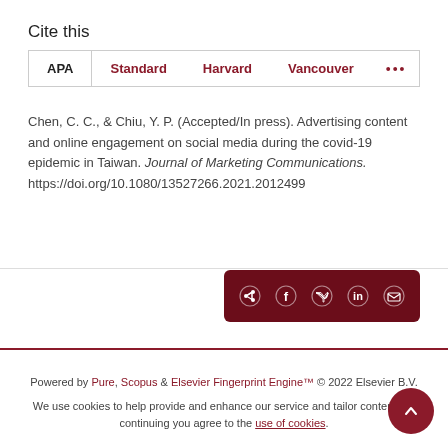Cite this
APA  Standard  Harvard  Vancouver  ...
Chen, C. C., & Chiu, Y. P. (Accepted/In press). Advertising content and online engagement on social media during the covid-19 epidemic in Taiwan. Journal of Marketing Communications. https://doi.org/10.1080/13527266.2021.2012499
[Figure (other): Share bar with social media icons: share, Facebook, Twitter, LinkedIn, Email]
Powered by Pure, Scopus & Elsevier Fingerprint Engine™ © 2022 Elsevier B.V.
We use cookies to help provide and enhance our service and tailor content. By continuing you agree to the use of cookies.